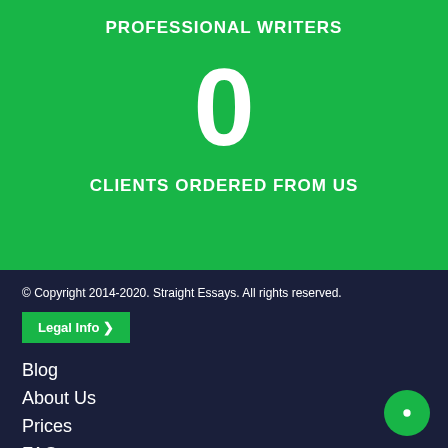PROFESSIONAL WRITERS
0
CLIENTS ORDERED FROM US
© Copyright 2014-2020. Straight Essays. All rights reserved.
Legal Info »
Blog
About Us
Prices
FAQs
How it Works